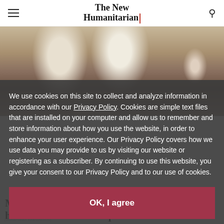The New Humanitarian
[Figure (photo): Photo of white cattle/livestock in a compound, with a person in pink visible on the right side]
(Mohammad Ibrahim/IRIN)
We use cookies on this site to collect and analyze information in accordance with our Privacy Policy. Cookies are simple text files that are installed on your computer and allow us to remember and store information about how you use the website, in order to enhance your user experience. Our Privacy Policy covers how we use data you may provide to us by visiting our website or registering as a subscriber. By continuing to use this website, you give your consent to our Privacy Policy and to our use of cookies.
OK, I agree
Malama Amina stands quietly in the middle of her late husband's compound in northwestern